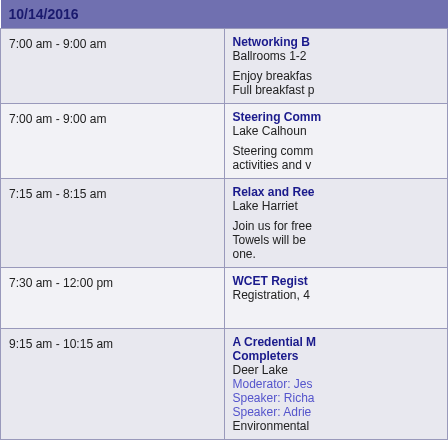10/14/2016
| Time | Event |
| --- | --- |
| 7:00 am - 9:00 am | Networking B
Ballrooms 1-2

Enjoy breakfas
Full breakfast p |
| 7:00 am - 9:00 am | Steering Comm
Lake Calhoun

Steering comm
activities and v |
| 7:15 am - 8:15 am | Relax and Ree
Lake Harriet

Join us for free
Towels will be
one. |
| 7:30 am - 12:00 pm | WCET Regist
Registration, 4 |
| 9:15 am - 10:15 am | A Credential M
Completer
Deer Lake
Moderator: Jes
Speaker: Richa
Speaker: Adrie
Environmental |